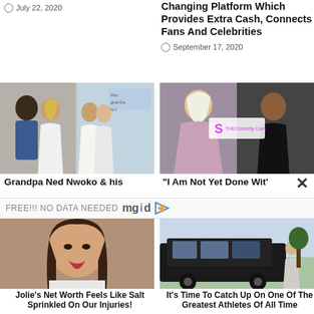July 22, 2020
Changing Platform Which Provides Extra Cash, Connects Fans And Celebrities
September 17, 2020
[Figure (photo): Two celebrity images side by side: left shows a man and woman at an event; right shows two women posing.]
Grandpa Ned Nwoko & his
"I Am Not Yet Done Wit'
FREE!!! NO DATA NEEDED mgid
[Figure (photo): Bottom left: portrait of a brunette woman (resembling Angelina Jolie). Bottom right: woman standing next to a large black SUV outdoors.]
Jolie's Net Worth Feels Like Salt Sprinkled On Our Injuries!
It's Time To Catch Up On One Of The Greatest Athletes Of All Time